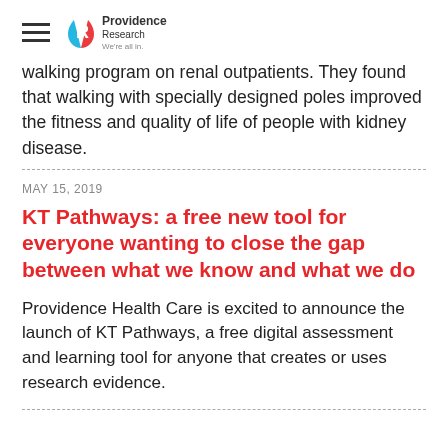Providence Research - We're all in.
walking program on renal outpatients.  They found that walking with specially designed poles improved the fitness and quality of life of people with kidney disease.
MAY 15, 2019
KT Pathways: a free new tool for everyone wanting to close the gap between what we know and what we do
Providence Health Care is excited to announce the launch of KT Pathways, a free digital assessment and learning tool for anyone that creates or uses research evidence.